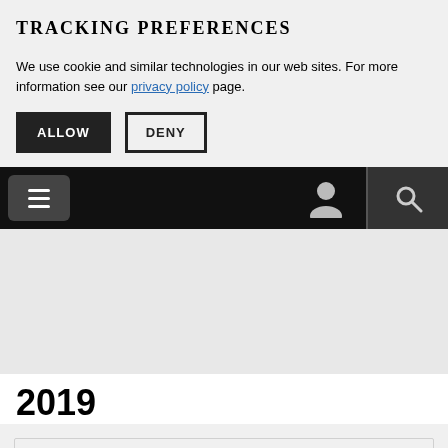TRACKING PREFERENCES
We use cookie and similar technologies in our web sites. For more information see our privacy policy page.
ALLOW  DENY
[Figure (screenshot): Navigation bar with hamburger menu icon on left, user/person icon and search icon on right, all on black background]
2019
KEYWORD